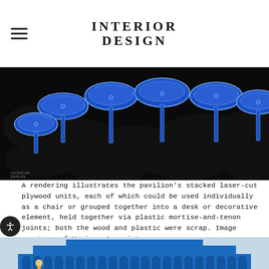INTERIOR DESIGN
[Figure (illustration): A digital rendering of mushroom-shaped blue laser-cut plywood units stacked together against a black organic cloud-like background. The blue forms have rounded tops and narrow stems with layered edges, arranged in a dense cluster.]
A rendering illustrates the pavilion’s stacked laser-cut plywood units, each of which could be used individually as a chair or grouped together into a desk or decorative element, held together via plastic mortise-and-tenon joints; both the wood and plastic were scrap. Image courtesy of Various Associates.
[Figure (photo): A photograph of a large blue pavilion structure made of stacked laser-cut plywood units arranged in a stepped pyramid formation, with arched openings visible between units. Workers and an exhibition hall interior are visible in the background.]